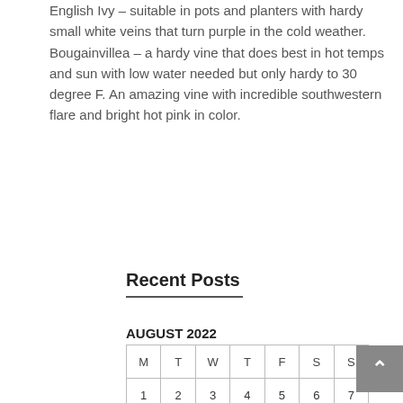English Ivy – suitable in pots and planters with hardy small white veins that turn purple in the cold weather. Bougainvillea – a hardy vine that does best in hot temps and sun with low water needed but only hardy to 30 degree F. An amazing vine with incredible southwestern flare and bright hot pink in color.
Recent Posts
| M | T | W | T | F | S | S |
| --- | --- | --- | --- | --- | --- | --- |
| 1 | 2 | 3 | 4 | 5 | 6 | 7 |
| 8 | 9 | 10 | 11 | 12 | 13 | 14 |
| 15 | 16 | 17 | 18 | 19 | 20 | 21 |